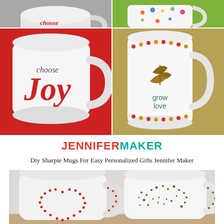[Figure (photo): Collage of four decorated mugs: top-left white mug on gray background (partial, top cropped), top-right colorful mug on green background (partial), bottom-left white mug with 'choose Joy' text on red background, bottom-right white mug with 'grow love' text and leaf design on tan/gold background]
JENNIFERMAKER
Diy Sharpie Mugs For Easy Personalized Gifts Jennifer Maker
[Figure (photo): Two white mugs side by side on a wooden surface: left mug has a red dotted heart outline, right mug has a brown dots/stars dandelion or constellation design]